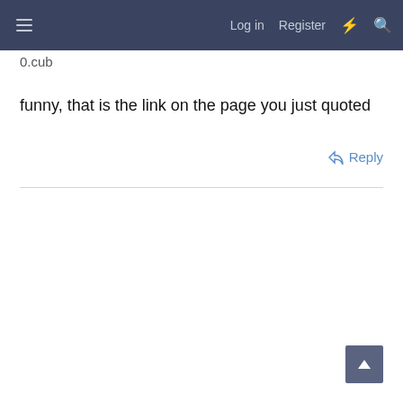Log in  Register
0.cub
funny, that is the link on the page you just quoted
Reply